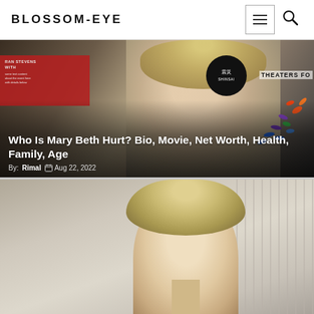BLOSSOM-EYE
[Figure (photo): Woman with short blonde hair and green glasses smiling at event, with red banner, SHINSAI circular logo, and colorful origami birds decoration in background. Text overlay: 'Who Is Mary Beth Hurt? Bio, Movie, Net Worth, Health, Family, Age' by Rimal, Aug 22, 2022]
Who Is Mary Beth Hurt? Bio, Movie, Net Worth, Health, Family, Age
By: Rimal  Aug 22, 2022
[Figure (photo): Young man with short blonde hair, partial view, light background with vertical lines]